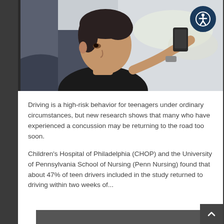[Figure (photo): Young male teenager sitting in a car looking at a smartphone, photographed from the side. He appears to be in the driver's seat. Background shows blurred outdoor scenery through the car window.]
Driving is a high-risk behavior for teenagers under ordinary circumstances, but new research shows that many who have experienced a concussion may be returning to the road too soon.
Children's Hospital of Philadelphia (CHOP) and the University of Pennsylvania School of Nursing (Penn Nursing) found that about 47% of teen drivers included in the study returned to driving within two weeks of...